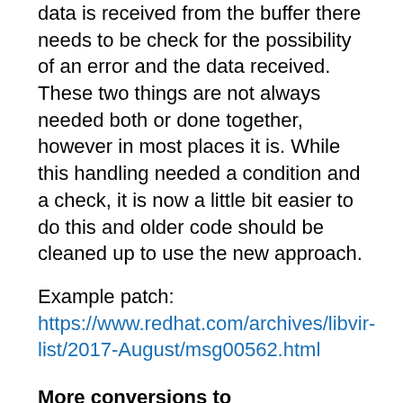data is received from the buffer there needs to be check for the possibility of an error and the data received. These two things are not always needed both or done together, however in most places it is. While this handling needed a condition and a check, it is now a little bit easier to do this and older code should be cleaned up to use the new approach.
Example patch: https://www.redhat.com/archives/libvir-list/2017-August/msg00562.html
More conversions to virErrorPreserveLast/virErrorRestore
virErrorPreserveLast + virErrorRestore are newer internal APIs for saving and restoring error reports. 'git grep virSaveLastError' and most usages will be candidates for converting.
See this commit for example conversions in